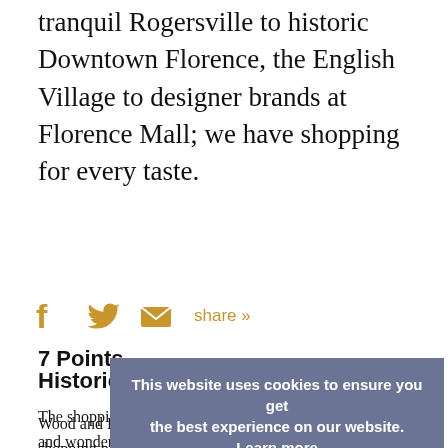tranquil Rogersville to historic Downtown Florence, the English Village to designer brands at Florence Mall; we have shopping for every taste.
[Figure (infographic): Social sharing bar with Facebook, Twitter, and email icons in gold/amber color, followed by 'share »' link text]
Historic Downtown Florence
The shopping selections in downtown Florence are varied and wonderful. From Billy Reid designer clothing to decor for the home. View the Historic Downtown Florence brochure to see places to shop, eat, play and more!
[Figure (screenshot): Cookie consent overlay with gray-blue background reading 'This website uses cookies to ensure you get the best experience on our website. Learn more' and a teal 'Got it!' button]
7 Points
Wood and Royal Avenues in Florence offer restored historic shopping places with antiques, specialty stores